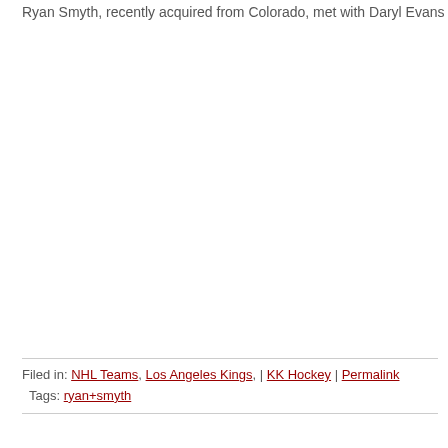Ryan Smyth, recently acquired from Colorado, met with Daryl Evans on his first da
Filed in: NHL Teams, Los Angeles Kings, | KK Hockey | Permalink
Tags: ryan+smyth